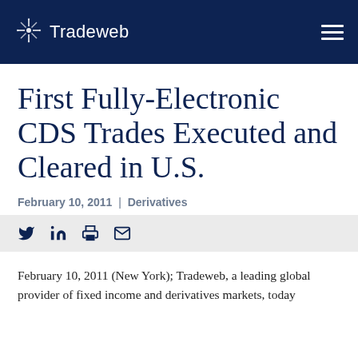Tradeweb
First Fully-Electronic CDS Trades Executed and Cleared in U.S.
February 10, 2011 | Derivatives
February 10, 2011 (New York); Tradeweb, a leading global provider of fixed income and derivatives markets, today